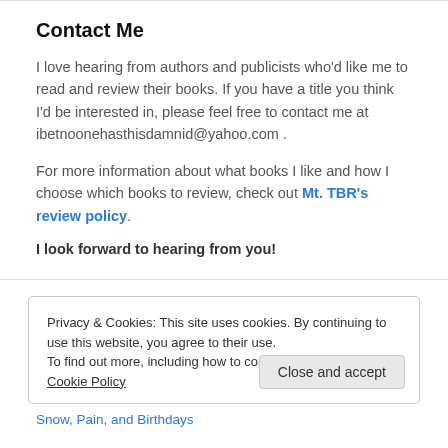Contact Me
I love hearing from authors and publicists who'd like me to read and review their books. If you have a title you think I'd be interested in, please feel free to contact me at ibetnoonehasthisdamnid@yahoo.com .
For more information about what books I like and how I choose which books to review, check out Mt. TBR's review policy.
I look forward to hearing from you!
Privacy & Cookies: This site uses cookies. By continuing to use this website, you agree to their use.
To find out more, including how to control cookies, see here: Cookie Policy
Close and accept
Snow, Pain, and Birthdays